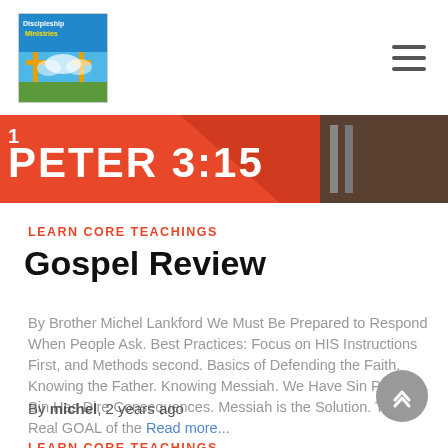Discipleship Ministries (logo) — hamburger menu
[Figure (photo): Cropped book cover showing '1 PETER 3:15' in white text on red/orange background with dark bible visible at right edge]
LEARN CORE TEACHINGS
Gospel Review
By Brother Michel Lankford We Must Be Prepared to Respond When People Ask. Best Practices: Focus on HIS Instructions First, and Methods second. Basics of Defending the Faith. Knowing the Father. Knowing Messiah. We Have Sin Problem. Sin Has Dire Consequences. Messiah is the Solution. The Real GOAL of the Read more...
By michel, 2 years ago
LEARN CORE TEACHINGS